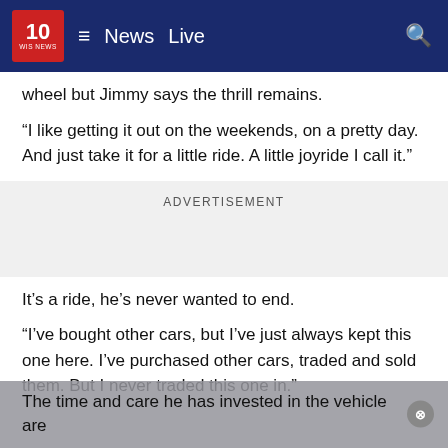10 WIS NEWS | News  Live
wheel but Jimmy says the thrill remains.
“I like getting it out on the weekends, on a pretty day. And just take it for a little ride. A little joyride I call it.”
ADVERTISEMENT
It’s a ride, he’s never wanted to end.
“I’ve bought other cars, but I’ve just always kept this one here. I’ve purchased other cars, traded and sold them. But I never traded this one in.”
The time and care he has invested in the vehicle are